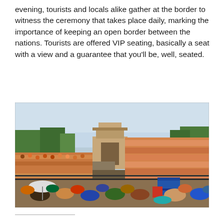evening, tourists and locals alike gather at the border to witness the ceremony that takes place daily, marking the importance of keeping an open border between the nations. Tourists are offered VIP seating, basically a seat with a view and a guarantee that you'll be, well, seated.
[Figure (photo): A large crowd of tourists and locals filling stadium-style bleacher seating at a border crossing ceremony, with a gate/arch structure visible in the background center, trees on the left, and densely packed spectators filling the frame. A man in a striped shirt stands near a blue cooler in the foreground right.]